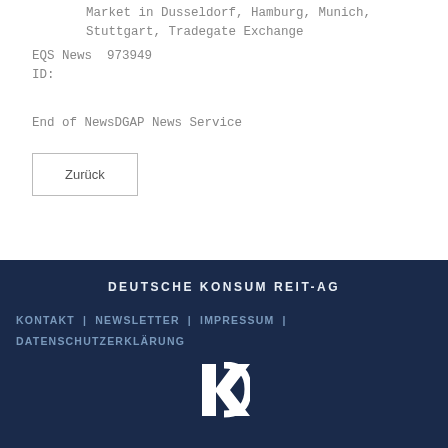Market in Dusseldorf, Hamburg, Munich, Stuttgart, Tradegate Exchange
EQS News ID: 973949
End of NewsDGAP News Service
Zurück
DEUTSCHE KONSUM REIT-AG | KONTAKT | NEWSLETTER | IMPRESSUM | DATENSCHUTZERKLÄRUNG